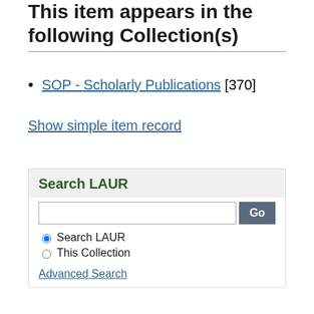This item appears in the following Collection(s)
SOP - Scholarly Publications [370]
Show simple item record
Search LAUR
Search LAUR (radio selected), This Collection (radio), Advanced Search